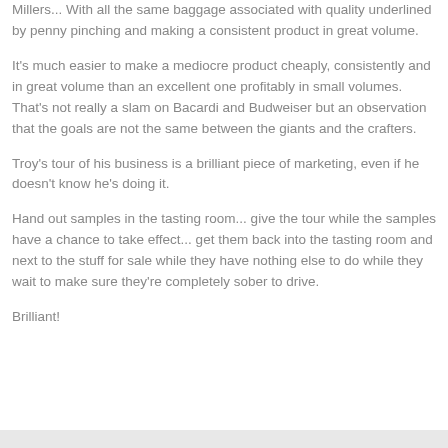Millers...  With all the same baggage associated with quality underlined by penny pinching and making a consistent product in great volume.
It's much easier to make a mediocre product cheaply, consistently and in great volume than an excellent one profitably in small volumes.  That's not really a slam on Bacardi and Budweiser but an observation that the goals are not the same between the giants and the crafters.
Troy's tour of his business is a brilliant piece of marketing, even if he doesn't know he's doing it.
Hand out samples in the tasting room... give the tour while the samples have a chance to take effect... get them back into the tasting room and next to the stuff for sale while they have nothing else to do while they wait to make sure they're completely sober to drive.
Brilliant!